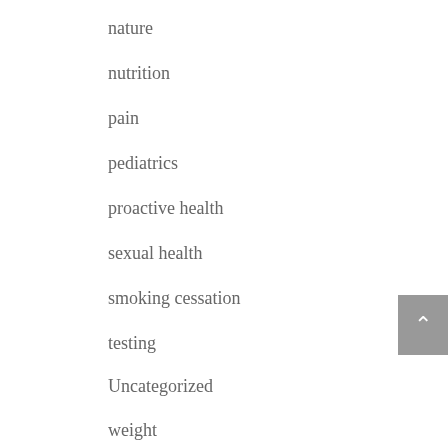nature
nutrition
pain
pediatrics
proactive health
sexual health
smoking cessation
testing
Uncategorized
weight
Archives
August 2018